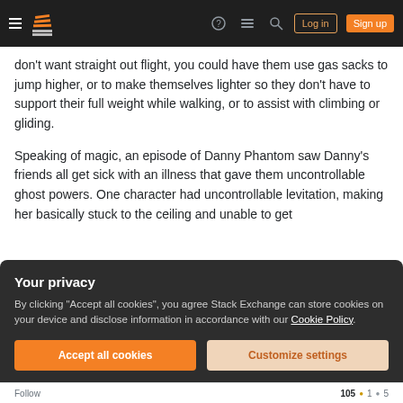Stack Exchange navigation bar with hamburger menu, logo, help, chat, search icons, Log in and Sign up buttons
don't want straight out flight, you could have them use gas sacks to jump higher, or to make themselves lighter so they don't have to support their full weight while walking, or to assist with climbing or gliding.
Speaking of magic, an episode of Danny Phantom saw Danny's friends all get sick with an illness that gave them uncontrollable ghost powers. One character had uncontrollable levitation, making her basically stuck to the ceiling and unable to get
Your privacy
By clicking "Accept all cookies", you agree Stack Exchange can store cookies on your device and disclose information in accordance with our Cookie Policy.
Accept all cookies
Customize settings
Follow  105  1  5